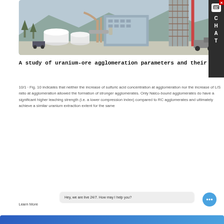[Figure (photo): Industrial facility photo showing large white cylindrical tanks, pipes, industrial building with steel scaffolding, a truck, and mountains/trees in the background. Photograph of what appears to be a uranium ore processing or chemical plant.]
A study of uranium-ore agglomeration parameters and their
10/1 · Fig. 10 indicates that neither the increase of sulfuric acid concentration at agglomeration nor the increase of L/S ratio at agglomeration allowed the formation of stronger agglomerates. Only Nalco-bound agglomerates do have a significant higher leaching strength (i.e. a lower compression index) compared to RC agglomerates and ultimately achieve a similar uranium extraction extent for the same
Learn More
Hey, we are live 24/7. How may I help you?